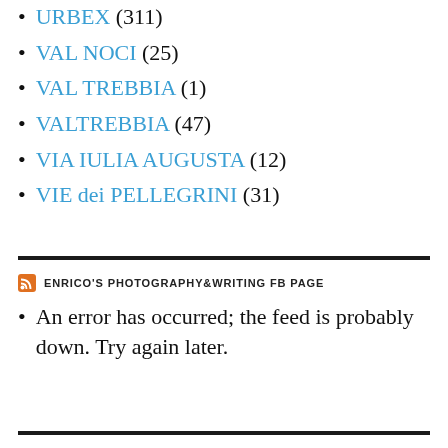URBEX (311)
VAL NOCI (25)
VAL TREBBIA (1)
VALTREBBIA (47)
VIA IULIA AUGUSTA (12)
VIE dei PELLEGRINI (31)
ENRICO'S PHOTOGRAPHY&WRITING FB PAGE
An error has occurred; the feed is probably down. Try again later.
PASSEGGIATE A LEVANTE FACEBOOK